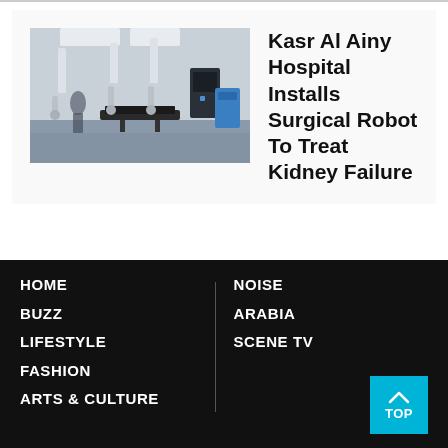[Figure (photo): Photo of a hospital operating room with multiple white robotic surgical arms and a surgical table in a sterile environment]
Kasr Al Ainy Hospital Installs Surgical Robot To Treat Kidney Failure
HOME | BUZZ | LIFESTYLE | FASHION | ARTS & CULTURE | NOISE | ARABIA | SCENE TV | TOP